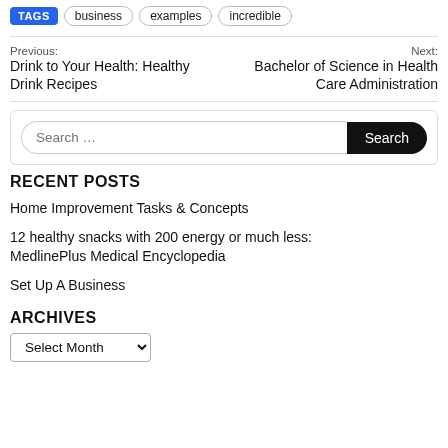TAGS   business   examples   incredible
Previous: Drink to Your Health: Healthy Drink Recipes | Next: Bachelor of Science in Health Care Administration
[Figure (other): Search bar with text field and Search button]
RECENT POSTS
Home Improvement Tasks & Concepts
12 healthy snacks with 200 energy or much less: MedlinePlus Medical Encyclopedia
Set Up A Business
ARCHIVES
Select Month